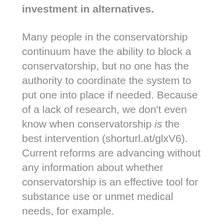investment in alternatives.
Many people in the conservatorship continuum have the ability to block a conservatorship, but no one has the authority to coordinate the system to put one into place if needed. Because of a lack of research, we don't even know when conservatorship is the best intervention (shorturl.at/glxV6). Current reforms are advancing without any information about whether conservatorship is an effective tool for substance use or unmet medical needs, for example.
It would be a scandal if the state could not say how many people are incarcerated in California, but the reality is that we have no data on how many people are conserved, where they are, or what happens to them. As a result, we will have only anecdotal evidence if these reforms have an impact. We can't have accountability without greater